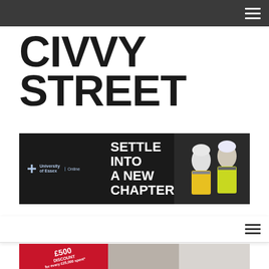Navigation bar with hamburger menu
CIVVY STREET
[Figure (infographic): University of Essex Online advertisement banner with dark background. Text reads 'SETTLE INTO A NEW CHAPTER'. Shows logo and two people in hi-vis jackets.]
Secondary navigation bar with hamburger menu
[Figure (infographic): Promotional banner image showing a red section with '£500 DISCOUNT for every £25,000 spent*' text rotated diagonally, alongside interior room and kitchen photos.]